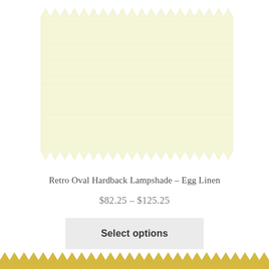[Figure (photo): Fabric swatch of cream/ivory linen material with zigzag pinked edges, top portion of the page]
Retro Oval Hardback Lampshade – Egg Linen
$82.25 – $125.25
Select options
[Figure (photo): Fabric swatch of yellow/gold linen material with zigzag pinked edges, bottom portion of the page (partially visible)]